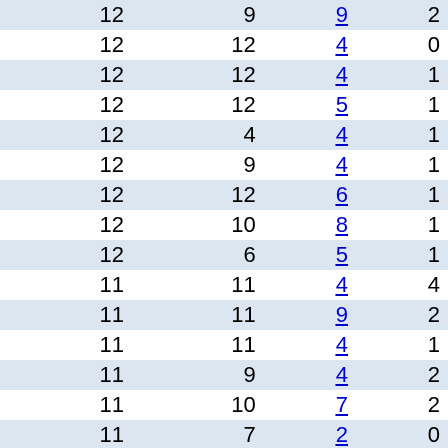| col1 | col2 | col3 | col4 |
| --- | --- | --- | --- |
| 12 | 9 | 9 | 2 |
| 12 | 12 | 4 | 0 |
| 12 | 12 | 4 | 1 |
| 12 | 12 | 5 | 1 |
| 12 | 4 | 4 | 1 |
| 12 | 9 | 4 | 1 |
| 12 | 12 | 6 | 1 |
| 12 | 10 | 8 | 1 |
| 12 | 6 | 5 | 1 |
| 11 | 11 | 4 | 4 |
| 11 | 11 | 9 | 2 |
| 11 | 11 | 4 | 1 |
| 11 | 9 | 4 | 2 |
| 11 | 10 | 7 | 2 |
| 11 | 7 | 2 | 0 |
| 11 | 11 | 6 | 0 |